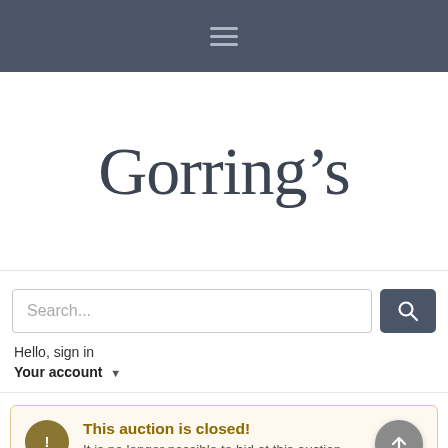Navigation bar with hamburger menu icon
Gorring’s
Search... Hello, sign in Your account
This auction is closed! It is no longer possible to bid at this auction.